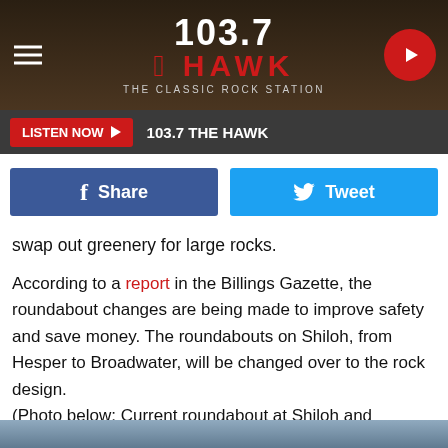[Figure (logo): 103.7 The Hawk classic rock station header banner with hamburger menu, logo, and play button]
[Figure (screenshot): Listen Now bar with red button and station name 103.7 THE HAWK on dark background]
[Figure (screenshot): Facebook Share and Twitter Tweet social sharing buttons]
swap out greenery for large rocks.
According to a report in the Billings Gazette, the roundabout changes are being made to improve safety and save money. The roundabouts on Shiloh, from Hesper to Broadwater, will be changed over to the rock design.
(Photo below: Current roundabout at Shiloh and Central)